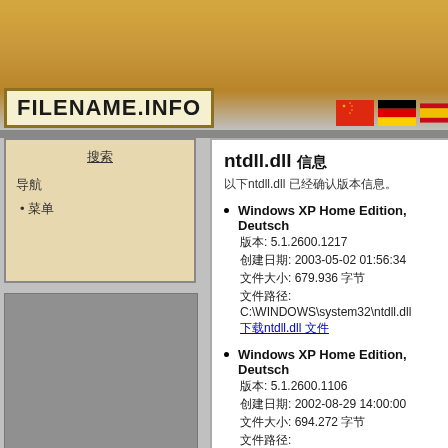FILENAME.INFO
搜索 | 导航 | 菜单 • 首页
ntdll.dll 信息
以下ntdll.dll 已经确认版本信息。
Windows XP Home Edition, Deutsch 版本: 5.1.2600.1217 创建日期: 2003-05-02 01:56:34 文件大小: 679.936 字节 文件路径: C:\WINDOWS\system32\ntdll.dll 下载ntdll.dll 文件
Windows XP Home Edition, Deutsch 版本: 5.1.2600.1106 创建日期: 2002-08-29 14:00:00 文件大小: 694.272 字节 文件路径: C:\WINDOWS\I386\SYSTEM32\ntdll 下载ntdll.dll 文件
ntdll.dll 文件更多信息：